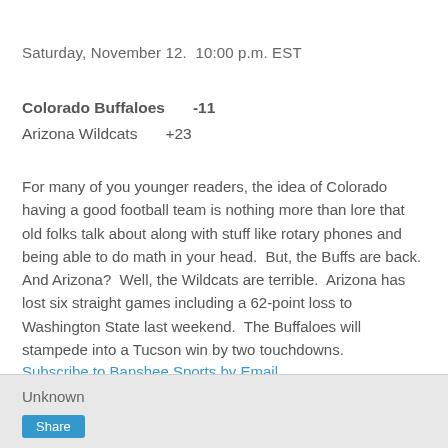Saturday, November 12.  10:00 p.m. EST
Colorado Buffaloes     -11
Arizona Wildcats       +23
For many of you younger readers, the idea of Colorado having a good football team is nothing more than lore that old folks talk about along with stuff like rotary phones and being able to do math in your head.  But, the Buffs are back.  And Arizona?  Well, the Wildcats are terrible.  Arizona has lost six straight games including a 62-point loss to Washington State last weekend.  The Buffaloes will stampede into a Tucson win by two touchdowns.
Subscribe to Banshee Sports by Email
Unknown